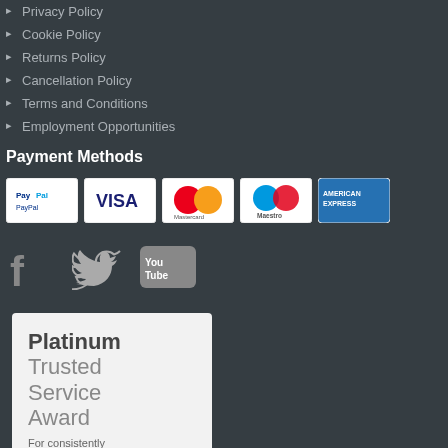Privacy Policy
Cookie Policy
Returns Policy
Cancellation Policy
Terms and Conditions
Employment Opportunities
Payment Methods
[Figure (other): Payment method icons: PayPal, Visa, Mastercard, Maestro, American Express]
[Figure (other): Social media icons: Facebook, Twitter, YouTube]
[Figure (other): Platinum Trusted Service Award badge 2022 by Feefo with 5 stars. Text: Platinum Trusted Service Award. For consistently delivering excellence. 2022 feefo]